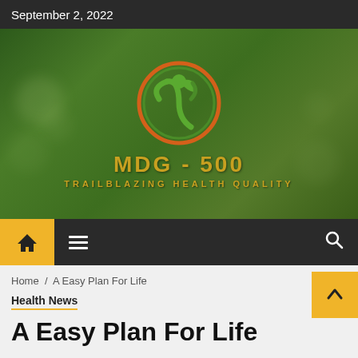September 2, 2022
[Figure (logo): MDG-500 logo on green grass bokeh background. Circle logo with green human figure and leaf, orange ring. Text: MDG-500 TRAILBLAZING HEALTH QUALITY]
[Figure (other): Navigation bar with yellow home button, hamburger menu icon, and search icon on dark background]
Home / A Easy Plan For Life
Health News
A Easy Plan For Life